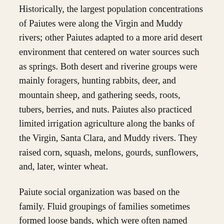Historically, the largest population concentrations of Paiutes were along the Virgin and Muddy rivers; other Paiutes adapted to a more arid desert environment that centered on water sources such as springs. Both desert and riverine groups were mainly foragers, hunting rabbits, deer, and mountain sheep, and gathering seeds, roots, tubers, berries, and nuts. Paiutes also practiced limited irrigation agriculture along the banks of the Virgin, Santa Clara, and Muddy rivers. They raised corn, squash, melons, gourds, sunflowers, and, later, winter wheat.
Paiute social organization was based on the family. Fluid groupings of families sometimes formed loose bands, which were often named after a major resource or geographic feature of their home territory. Paiute groups gathered together in the fall for dances and marriages. Marriage meant the establishment of a joint household and was not marked by ceremony. Although monogamy was the norm, marriage variants such as